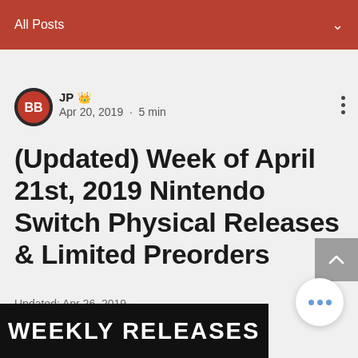All Posts
JP · Apr 20, 2019 · 5 min
(Updated) Week of April 21st, 2019 Nintendo Switch Physical Releases & Limited Preorders
Updated: Apr 26, 2019
[Figure (screenshot): Bottom banner image showing 'WEEKLY RELEASES' text in bold white letters on dark background]